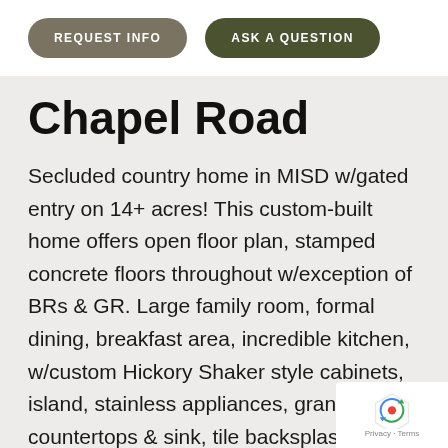REQUEST INFO | ASK A QUESTION
Chapel Road
Secluded country home in MISD w/gated entry on 14+ acres! This custom-built home offers open floor plan, stamped concrete floors throughout w/exception of BRs & GR. Large family room, formal dining, breakfast area, incredible kitchen, w/custom Hickory Shaker style cabinets, island, stainless appliances, granite countertops & sink, tile backsplash, breakfast bar, & desk/work area. The family room offers stone fireplace, high ceilings, custom woodwork & cabinetry. Oversized game room/media room